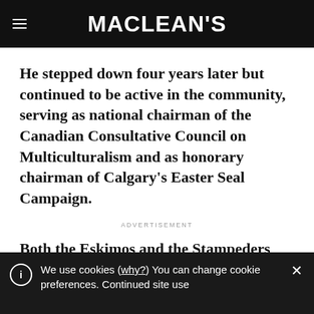MACLEAN'S
He stepped down four years later but continued to be active in the community, serving as national chairman of the Canadian Consultative Council on Multiculturalism and as honorary chairman of Calgary's Easter Seal Campaign.
ADVERTISEMENT
Both the Eskimos and the Stampeders
We use cookies (why?) You can change cookie preferences. Continued site use